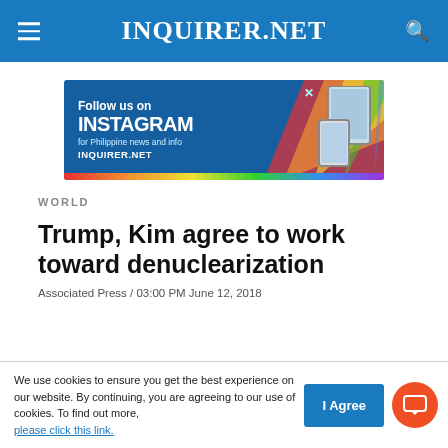INQUIRER.NET
[Figure (infographic): Advertisement banner: Follow us on INSTAGRAM for Philippine news and info INQUIRER.NET, with rainbow stripe and device mockups on dark blue background]
WORLD
Trump, Kim agree to work toward denuclearization
Associated Press / 03:00 PM June 12, 2018
We use cookies to ensure you get the best experience on our website. By continuing, you are agreeing to our use of cookies. To find out more, please click this link.